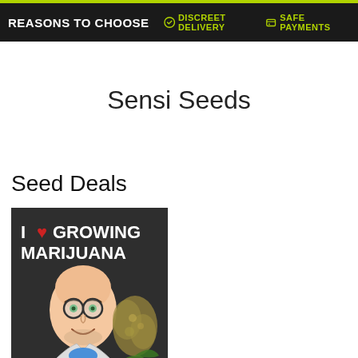REASONS TO CHOOSE   DISCREET DELIVERY   SAFE PAYMENTS
Sensi Seeds
Seed Deals
[Figure (illustration): Cartoon illustration of a bald man with glasses smiling, wearing a lab coat, next to a cannabis bud, with text 'I LOVE GROWING MARIJUANA' on a dark background.]